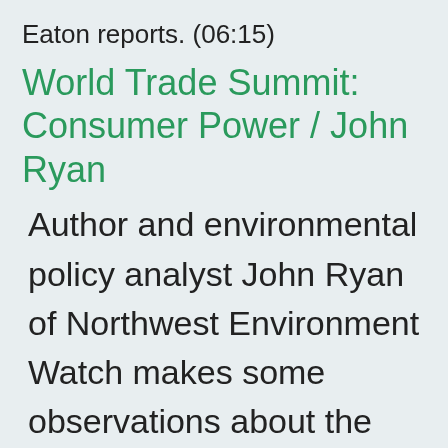Eaton reports. (06:15)
World Trade Summit: Consumer Power / John Ryan
Author and environmental policy analyst John Ryan of Northwest Environment Watch makes some observations about the